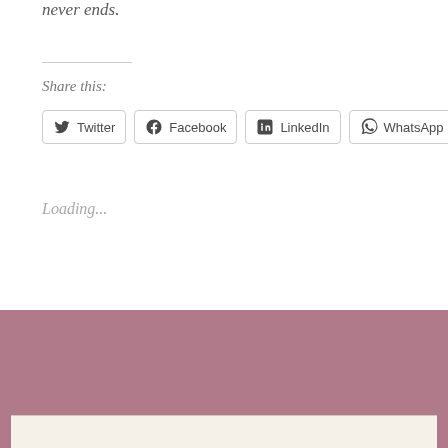never ends.
Share this:
Twitter  Facebook  LinkedIn  WhatsApp
Loading...